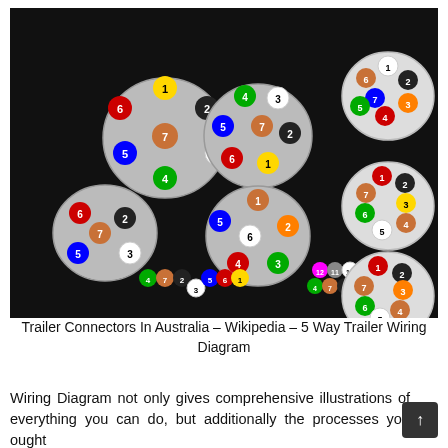[Figure (schematic): Trailer Connectors In Australia - multiple circular connector diagrams showing 5-way, 7-way pin configurations with colored numbered pins on dark background]
Trailer Connectors In Australia – Wikipedia – 5 Way Trailer Wiring Diagram
Wiring Diagram not only gives comprehensive illustrations of everything you can do, but additionally the processes you ought